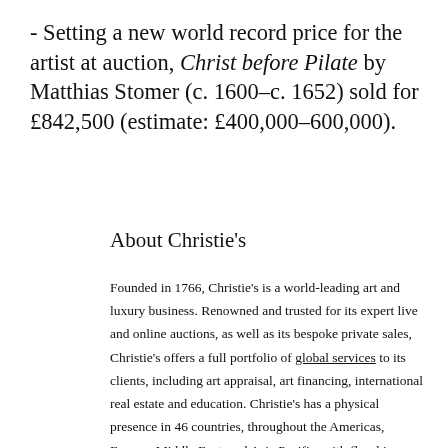- Setting a new world record price for the artist at auction, Christ before Pilate by Matthias Stomer (c. 1600–c. 1652) sold for £842,500 (estimate: £400,000–600,000).
About Christie's
Founded in 1766, Christie's is a world-leading art and luxury business. Renowned and trusted for its expert live and online auctions, as well as its bespoke private sales, Christie's offers a full portfolio of global services to its clients, including art appraisal, art financing, international real estate and education. Christie's has a physical presence in 46 countries, throughout the Americas, Europe, Middle East, and Asia Pacific, with flagship international sales hubs in New York, London, Hong Kong, Paris and Geneva, in addition to...